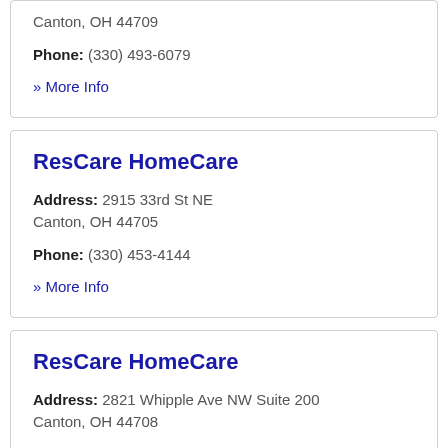Canton, OH 44709
Phone: (330) 493-6079
» More Info
ResCare HomeCare
Address: 2915 33rd St NE Canton, OH 44705
Phone: (330) 453-4144
» More Info
ResCare HomeCare
Address: 2821 Whipple Ave NW Suite 200 Canton, OH 44708
Phone: (330) 479-0841